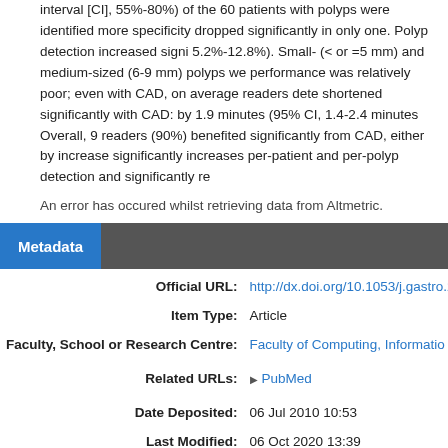interval [CI], 55%-80%) of the 60 patients with polyps were identified more specificity dropped significantly in only one. Polyp detection increased signi 5.2%-12.8%). Small- (< or =5 mm) and medium-sized (6-9 mm) polyps we performance was relatively poor; even with CAD, on average readers dete shortened significantly with CAD: by 1.9 minutes (95% CI, 1.4-2.4 minutes Overall, 9 readers (90%) benefited significantly from CAD, either by increase significantly increases per-patient and per-polyp detection and significantly re
An error has occured whilst retrieving data from Altmetric.
Metadata
| Label | Value |
| --- | --- |
| Official URL: | http://dx.doi.org/10.1053/j.gastro.2... |
| Item Type: | Article |
| Faculty, School or Research Centre: | Faculty of Computing, Information... |
| Related URLs: | ▶ PubMed |
| Date Deposited: | 06 Jul 2010 10:53 |
| Last Modified: | 06 Oct 2020 13:39 |
| DOI: | https://doi.org/10.1053/j.gastro.20... |
| URI: | https://eprints.kingston.ac.uk/id/ep... |